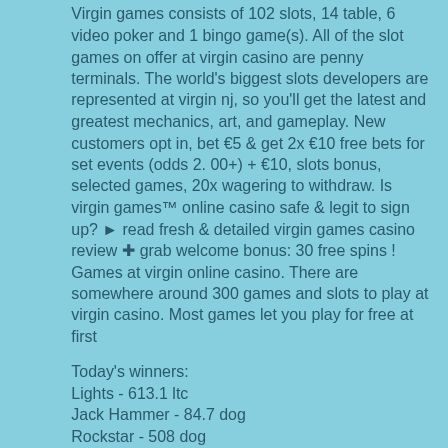Virgin games consists of 102 slots, 14 table, 6 video poker and 1 bingo game(s). All of the slot games on offer at virgin casino are penny terminals. The world's biggest slots developers are represented at virgin nj, so you'll get the latest and greatest mechanics, art, and gameplay. New customers opt in, bet €5 &amp; get 2x €10 free bets for set events (odds 2. 00+) + €10, slots bonus, selected games, 20x wagering to withdraw. Is virgin games™ online casino safe &amp; legit to sign up? ► read fresh &amp; detailed virgin games casino review ✚ grab welcome bonus: 30 free spins ! Games at virgin online casino. There are somewhere around 300 games and slots to play at virgin casino. Most games let you play for free at first
Today's winners:
Lights - 613.1 ltc
Jack Hammer - 84.7 dog
Rockstar - 508 dog